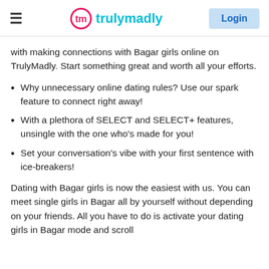trulymadly | Login
with making connections with Bagar girls online on TrulyMadly. Start something great and worth all your efforts.
Why unnecessary online dating rules? Use our spark feature to connect right away!
With a plethora of SELECT and SELECT+ features, unsingle with the one who's made for you!
Set your conversation's vibe with your first sentence with ice-breakers!
Dating with Bagar girls is now the easiest with us. You can meet single girls in Bagar all by yourself without depending on your friends. All you have to do is activate your dating girls in Bagar mode and scroll